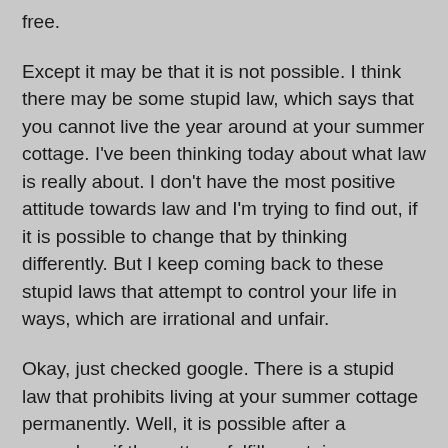free.
Except it may be that it is not possible. I think there may be some stupid law, which says that you cannot live the year around at your summer cottage. I've been thinking today about what law is really about. I don't have the most positive attitude towards law and I'm trying to find out, if it is possible to change that by thinking differently. But I keep coming back to these stupid laws that attempt to control your life in ways, which are irrational and unfair.
Okay, just checked google. There is a stupid law that prohibits living at your summer cottage permanently. Well, it is possible after a procedure if the cottage fulfills certain standards, but that is the point. What right does the state have to control what kind of living standards are enough for an individual. If I should wish to live like they did three hundreds years ago, without any modern conveniences, why can't I do that? Why is the state allowed to forcibly drag me into the society and then force me to pay for that? This law is an example of a control mechanism, which limits the right to choose an alternative lifestyle. An example of why I am not